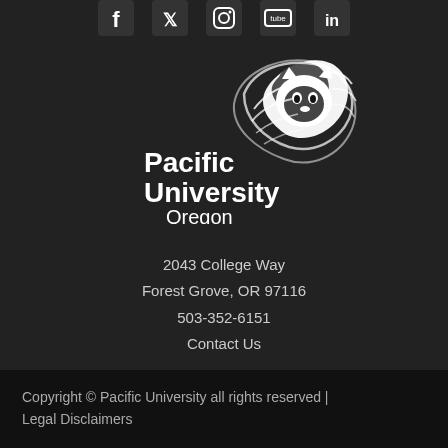[Figure (logo): Social media icons bar at top: Facebook, Twitter, Instagram, YouTube, LinkedIn]
[Figure (logo): Pacific University Oregon logo with lion mascot in white on dark background]
2043 College Way
Forest Grove, OR 97116
503-352-6151
Contact Us
Copyright © Pacific University all rights reserved | Legal Disclaimers